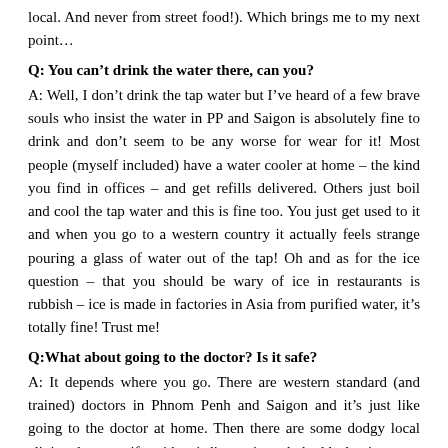local. And never from street food!). Which brings me to my next point…
Q: You can't drink the water there, can you?
A: Well, I don't drink the tap water but I've heard of a few brave souls who insist the water in PP and Saigon is absolutely fine to drink and don't seem to be any worse for wear for it! Most people (myself included) have a water cooler at home – the kind you find in offices – and get refills delivered. Others just boil and cool the tap water and this is fine too. You just get used to it and when you go to a western country it actually feels strange pouring a glass of water out of the tap! Oh and as for the ice question – that you should be wary of ice in restaurants is rubbish – ice is made in factories in Asia from purified water, it's totally fine! Trust me!
Q:What about going to the doctor? Is it safe?
A: It depends where you go. There are western standard (and trained) doctors in Phnom Penh and Saigon and it's just like going to the doctor at home. Then there are some dodgy local clinics that are rife with misdiagnosis and shoddy hygiene etc. but only the stingiest of expats would put their health at risk by going somewhere unreliable for health matters.
Q: You had a baby in Bangkok – what was THAT like?!
A: Yes I did and it was…well I'll let childhood be a separate topic in the